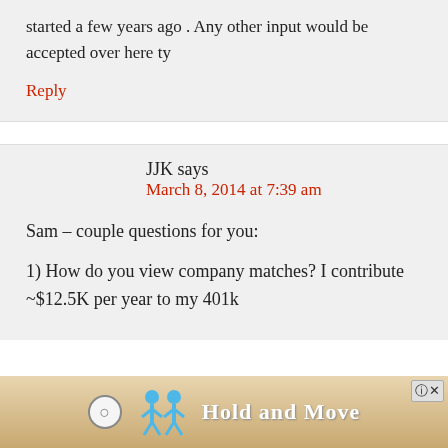started a few years ago . Any other input would be accepted over here ty
Reply
JJK says
March 8, 2014 at 7:39 am
Sam – couple questions for you:
1) How do you view company matches? I contribute ~$12.5K per year to my 401k
[Figure (screenshot): Advertisement banner with 'Hold and Move' text and animated figures on a wooden background]